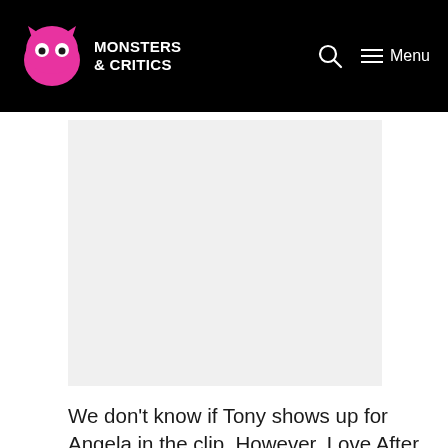Monsters & Critics — Menu
[Figure (other): Advertisement or image placeholder — light gray rectangle]
We don't know if Tony shows up for Angela in the clip. However, Love After Lockup viewers